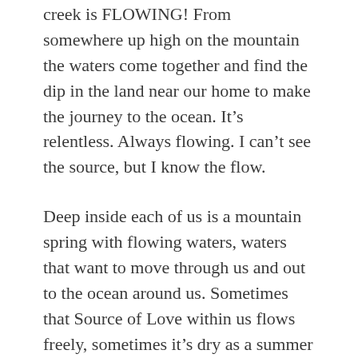creek is FLOWING! From somewhere up high on the mountain the waters come together and find the dip in the land near our home to make the journey to the ocean. It’s relentless. Always flowing. I can’t see the source, but I know the flow.
Deep inside each of us is a mountain spring with flowing waters, waters that want to move through us and out to the ocean around us. Sometimes that Source of Love within us flows freely, sometimes it’s dry as a summer creek bed. Sometimes, to let the water flow freely, boulders or old trees have to be pushed out of the way or come bounding down the creek causing their own bit of havoc. Same for us, sometimes we have old ways, thoughts, memories, tapes that need to be washed away so the Water from the Spring of Love can flow through